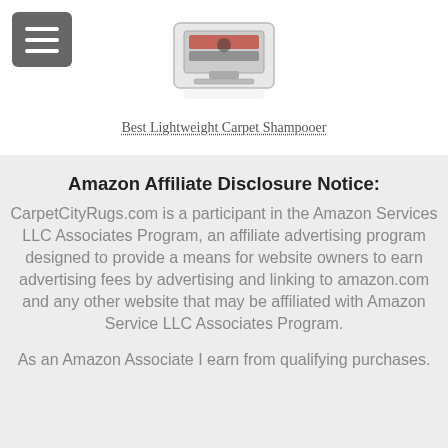[Figure (photo): Product image of a carpet shampooer machine centered at top of page]
Best Lightweight Carpet Shampooer
Amazon Affiliate Disclosure Notice:
CarpetCityRugs.com is a participant in the Amazon Services LLC Associates Program, an affiliate advertising program designed to provide a means for website owners to earn advertising fees by advertising and linking to amazon.com and any other website that may be affiliated with Amazon Service LLC Associates Program.

As an Amazon Associate I earn from qualifying purchases.